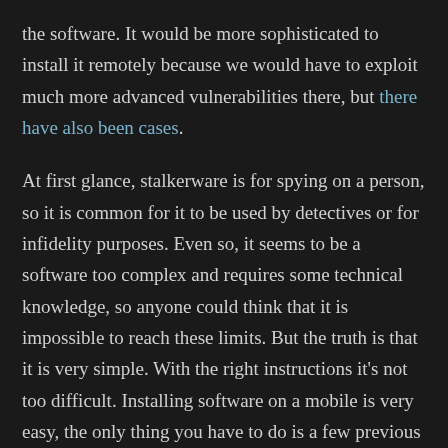the software. It would be more sophisticated to install it remotely because we would have to exploit much more advanced vulnerabilities there, but there have also been cases.
At first glance, stalkerware is for spying on a person, so it is common for it to be used by detectives or for infidelity purposes. Even so, it seems to be a software too complex and requires some technical knowledge, so anyone could think that it is impossible to reach these limits. But the truth is that it is very simple. With the right instructions it's not too difficult. Installing software on a mobile is very easy, the only thing you have to do is a few previous steps to switch to a repository